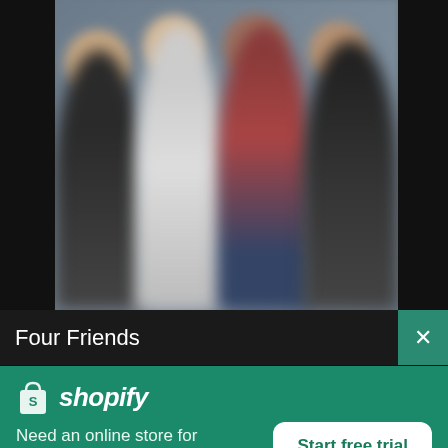[Figure (photo): Four people standing together in a group photo against a grey background, blurred/obscured for privacy. They are wearing casual clothing including black t-shirt, white/grey outfit, red vest, and dark patterned shirt.]
Four Friends
×
[Figure (logo): Shopify logo: white shopping bag icon with S, followed by italic bold 'shopify' text in white]
Need an online store for your business?
Start free trial